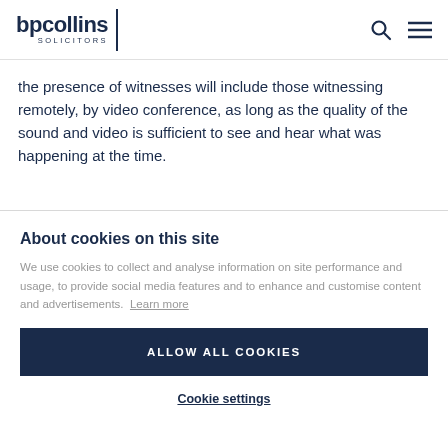bpcollins SOLICITORS
the presence of witnesses will include those witnessing remotely, by video conference, as long as the quality of the sound and video is sufficient to see and hear what was happening at the time.
About cookies on this site
We use cookies to collect and analyse information on site performance and usage, to provide social media features and to enhance and customise content and advertisements. Learn more
ALLOW ALL COOKIES
Cookie settings